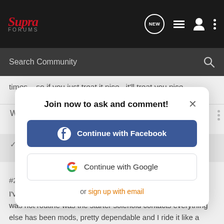Supra Forums — NEW [list icon] [user icon] [dots icon]
Search Community
times....so if you just treat it nice...it'll treat you nice
[Figure (screenshot): Modal dialog: Join now to ask and comment! with Continue with Facebook button, Continue with Google button, and 'or sign up with email' link]
I've had mine for 37k miles and the only thing I've done that was not routine was the starter solenoid contacts everything else has been mods, pretty dependable and I ride it like a